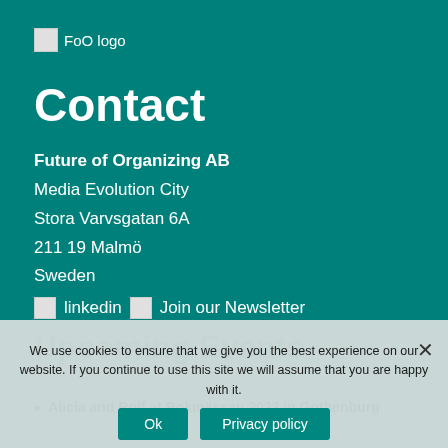[Figure (logo): FoO logo placeholder image with alt text 'FoO logo']
Contact
Future of Organizing AB
Media Evolution City
Stora Varvsgatan 6A
211 19 Malmö
Sweden
[Figure (logo): linkedin icon placeholder]
[Figure (logo): Join our Newsletter icon placeholder]
Upcoming Events
We use cookies to ensure that we give you the best experience on our website. If you continue to use this site we will assume that you are happy with it.
Alicia and Rolf at Bokmässan 2022 in Gothenburg